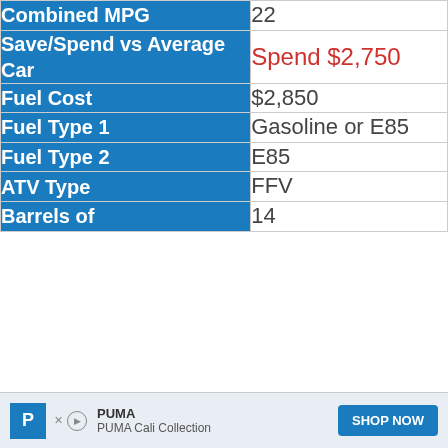| Field | Value |
| --- | --- |
| Combined MPG | 22 |
| Save/Spend vs Average Car | Spend $2,750 |
| Fuel Cost | $2,850 |
| Fuel Type 1 | Gasoline or E85 |
| Fuel Type 2 | E85 |
| ATV Type | FFV |
| Barrels of | 14 |